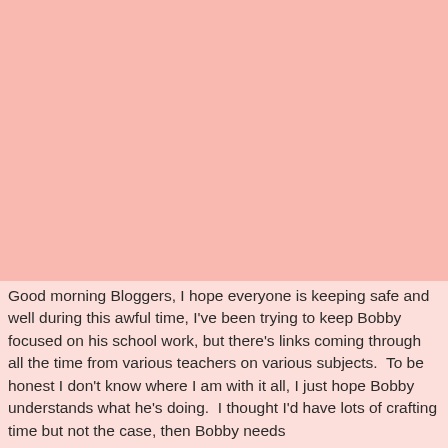Good morning Bloggers, I hope everyone is keeping safe and well during this awful time, I've been trying to keep Bobby focused on his school work, but there's links coming through all the time from various teachers on various subjects.  To be honest I don't know where I am with it all, I just hope Bobby understands what he's doing.  I thought I'd have lots of crafting time but not the case, then Bobby needs